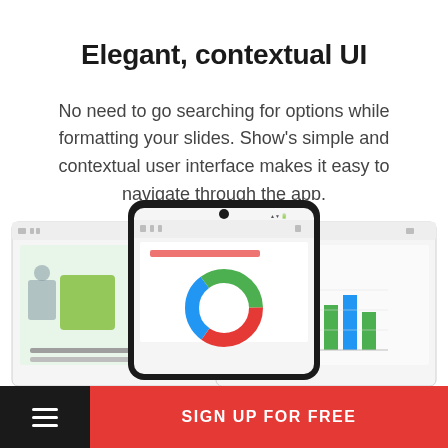Elegant, contextual UI
No need to go searching for options while formatting your slides. Show's simple and contextual user interface makes it easy to navigate through the app.
[Figure (screenshot): Three smartphone screens showing the app interface: left screen shows a presentation slide with green elements, center screen shows a slide editing view, right screen shows a slide with bar charts]
SIGN UP FOR FREE